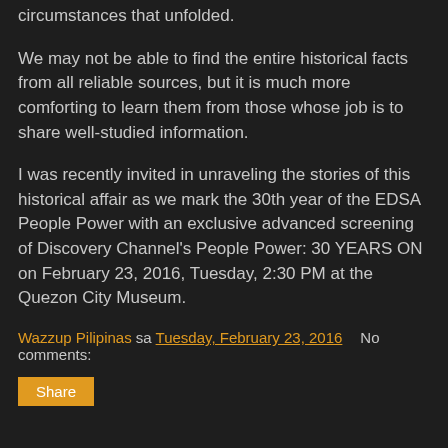circumstances that unfolded.
We may not be able to find the entire historical facts from all reliable sources, but it is much more comforting to learn them from those whose job is to share well-studied information.
I was recently invited in unraveling the stories of this historical affair as we mark the 30th year of the EDSA People Power with an exclusive advanced screening of Discovery Channel’s People Power: 30 YEARS ON on February 23, 2016, Tuesday, 2:30 PM at the Quezon City Museum.
Wazzup Pilipinas sa Tuesday, February 23, 2016   No comments:
Share
Football Fundamentals for Adults Program Now Offered at the Sparta Football Academy